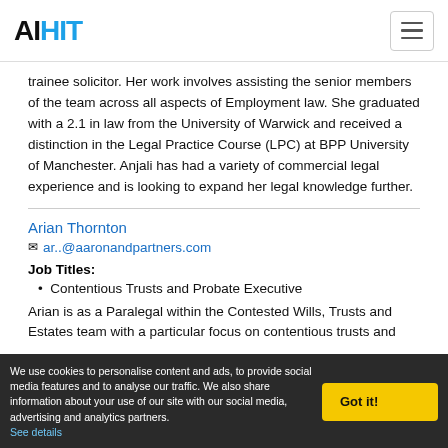AIHIT
trainee solicitor. Her work involves assisting the senior members of the team across all aspects of Employment law. She graduated with a 2.1 in law from the University of Warwick and received a distinction in the Legal Practice Course (LPC) at BPP University of Manchester. Anjali has had a variety of commercial legal experience and is looking to expand her legal knowledge further.
Arian Thornton
ar..@aaronandpartners.com
Job Titles:
Contentious Trusts and Probate Executive
Arian is as a Paralegal within the Contested Wills, Trusts and Estates team with a particular focus on contentious trusts and
We use cookies to personalise content and ads, to provide social media features and to analyse our traffic. We also share information about your use of our site with our social media, advertising and analytics partners. See details